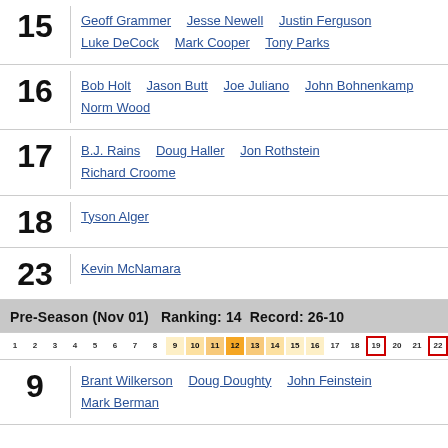15: Geoff Grammer, Jesse Newell, Justin Ferguson, Luke DeCock, Mark Cooper, Tony Parks
16: Bob Holt, Jason Butt, Joe Juliano, John Bohnenkamp, Norm Wood
17: B.J. Rains, Doug Haller, Jon Rothstein, Richard Croome
18: Tyson Alger
23: Kevin McNamara
Pre-Season (Nov 01)   Ranking: 14   Record: 26-10
[Figure (infographic): Ranking strip showing numbers 1-25 and NR, with positions 9-18 highlighted in orange shades, position 19 boxed in red, position 22 boxed in red]
9: Brant Wilkerson, Doug Doughty, John Feinstein, Mark Berman